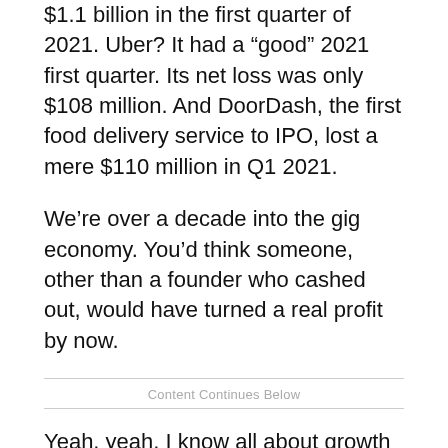$1.1 billion in the first quarter of 2021. Uber? It had a “good” 2021 first quarter. Its net loss was only $108 million. And DoorDash, the first food delivery service to IPO, lost a mere $110 million in Q1 2021.
We’re over a decade into the gig economy. You’d think someone, other than a founder who cashed out, would have turned a real profit by now.
Yeah, yeah, I know all about growth over profitability. But even so, at the end of the day—